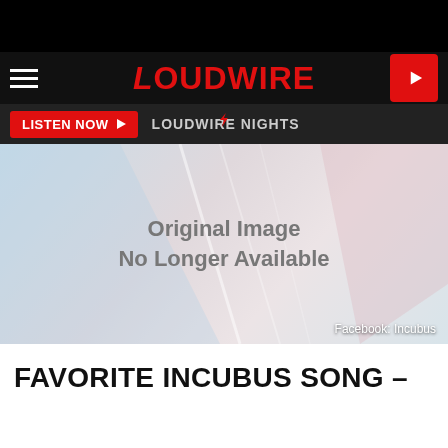LOUDWIRE
LISTEN NOW   LOUDWIRE NIGHTS
[Figure (photo): Original Image No Longer Available placeholder image with abstract light geometric background. Credit: Facebook: Incubus]
FAVORITE INCUBUS SONG –